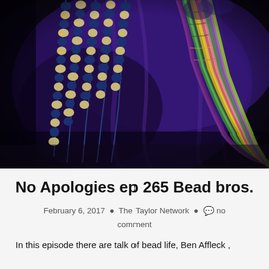[Figure (photo): Close-up photo of decorative beaded necklaces — dark blue/navy beads with white patterned hand-shaped beads on the left, and colorful coiled cloth or rope beads in green, yellow, pink on the right, against a dark purple/blue fabric background.]
No Apologies ep 265 Bead bros.
February 6, 2017 • The Taylor Network • 💬 no comment
In this episode there are talk of bead life, Ben Affleck ,